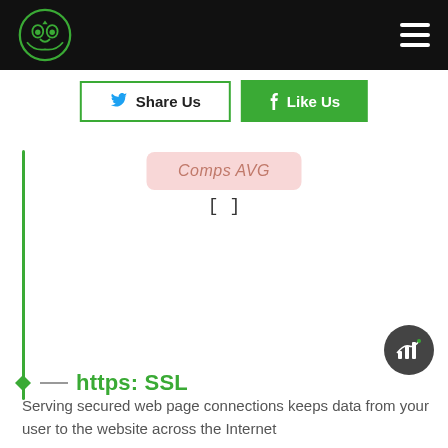Owl logo and navigation header
[Figure (infographic): Social sharing buttons: 'Share Us' with Twitter bird icon (outlined green border) and 'Like Us' with Facebook f icon (solid green background)]
[Figure (screenshot): Comps AVG label in a pink/salmon rounded box with brackets [] below it]
[Figure (other): Floating dark circular button with chart/bar icon]
https: SSL
Serving secured web page connections keeps data from your user to the website across the Internet